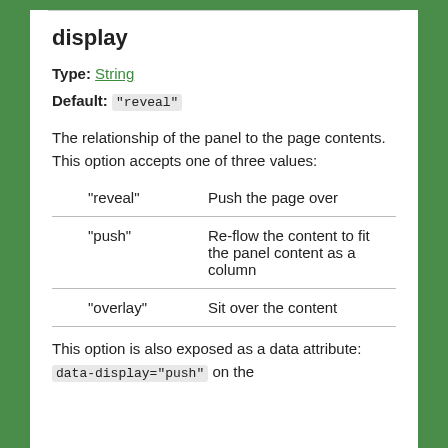display
Type: String
Default: "reveal"
The relationship of the panel to the page contents. This option accepts one of three values:
|  |  |
| --- | --- |
| "reveal" | Push the page over |
| "push" | Re-flow the content to fit the panel content as a column |
| "overlay" | Sit over the content |
This option is also exposed as a data attribute: data-display="push" on the